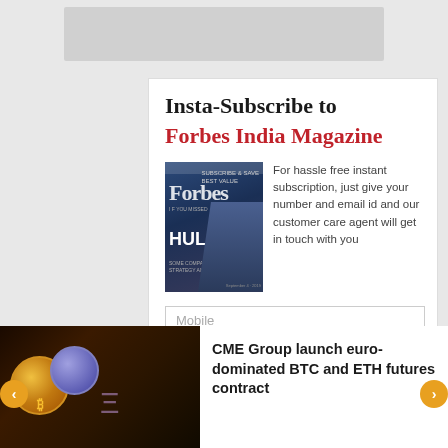Insta-Subscribe to Forbes India Magazine
[Figure (illustration): Forbes India Magazine cover showing a man in a suit seated, with HUL text and Forbes logo]
For hassle free instant subscription, just give your number and email id and our customer care agent will get in touch with you
Mobile
Email
[Figure (photo): Gold and ethereum cryptocurrency coins on dark background]
CME Group launch euro-dominated BTC and ETH futures contract